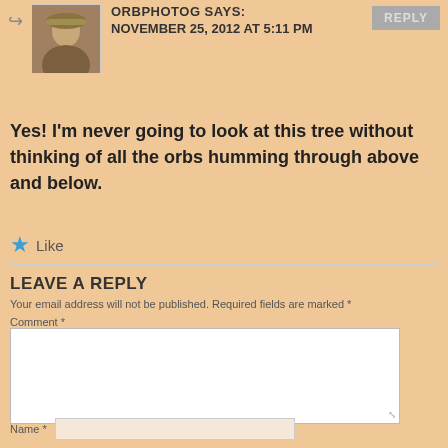ORBPHOTOG SAYS:
NOVEMBER 25, 2012 AT 5:11 PM
Yes! I'm never going to look at this tree without thinking of all the orbs humming through above and below.
Like
LEAVE A REPLY
Your email address will not be published. Required fields are marked *
Comment *
Name *